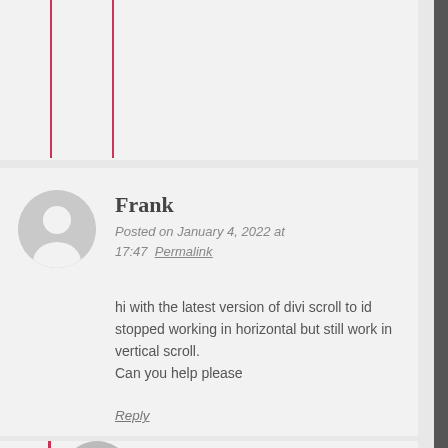Frank
Posted on January 4, 2022 at 17:47   Permalink
hi with the latest version of divi scroll to id stopped working in horizontal but still work in vertical scroll.
Can you help please
Reply
malihu
Posted on January 4, 2022 at 20...